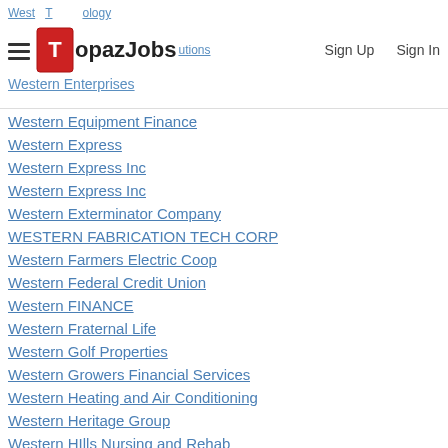TopazJobs | Sign Up | Sign In
Western Equipment Finance
Western Express
Western Express Inc
Western Express Inc
Western Exterminator Company
WESTERN FABRICATION TECH CORP
Western Farmers Electric Coop
Western Federal Credit Union
Western FINANCE
Western Fraternal Life
Western Golf Properties
Western Growers Financial Services
Western Heating and Air Conditioning
Western Heritage Group
Western HIlls Nursing and Rehab
Western Insurors
Western International Gas Cylinders, Inc
Western International Gas & Cylinders, Inc
Western IRB
Western Kentucky University